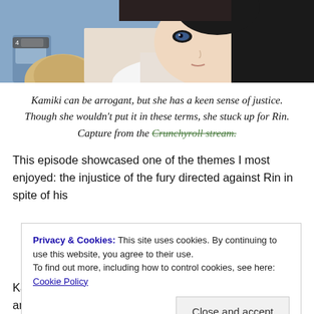[Figure (illustration): Anime screenshot showing a dark-haired female character (Kamiki) in close-up, apparently on an airplane, with another character with light hair partially visible in the foreground]
Kamiki can be arrogant, but she has a keen sense of justice. Though she wouldn't put it in these terms, she stuck up for Rin. Capture from the Crunchyroll stream.
This episode showcased one of the themes I most enjoyed: the injustice of the fury directed against Rin in spite of his
Privacy & Cookies: This site uses cookies. By continuing to use this website, you agree to their use.
To find out more, including how to control cookies, see here: Cookie Policy
Kamiki's probably my favorite character. She's arrogant and